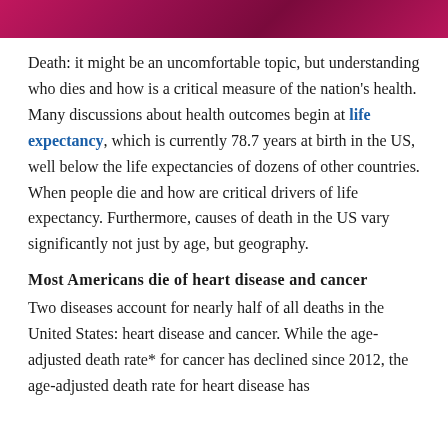[Figure (other): Dark pink/magenta decorative header bar at top of page]
Death: it might be an uncomfortable topic, but understanding who dies and how is a critical measure of the nation's health. Many discussions about health outcomes begin at life expectancy, which is currently 78.7 years at birth in the US, well below the life expectancies of dozens of other countries. When people die and how are critical drivers of life expectancy. Furthermore, causes of death in the US vary significantly not just by age, but geography.
Most Americans die of heart disease and cancer
Two diseases account for nearly half of all deaths in the United States: heart disease and cancer. While the age-adjusted death rate* for cancer has declined since 2012, the age-adjusted death rate for heart disease has